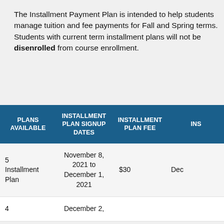The Installment Payment Plan is intended to help students manage tuition and fee payments for Fall and Spring terms. Students with current term installment plans will not be disenrolled from course enrollment.
| PLANS AVAILABLE | INSTALLMENT PLAN SIGNUP DATES | INSTALLMENT PLAN FEE | INS… |
| --- | --- | --- | --- |
| 5 Installment Plan | November 8, 2021 to December 1, 2021 | $30 | Dec… |
| 4 | December 2, |  |  |